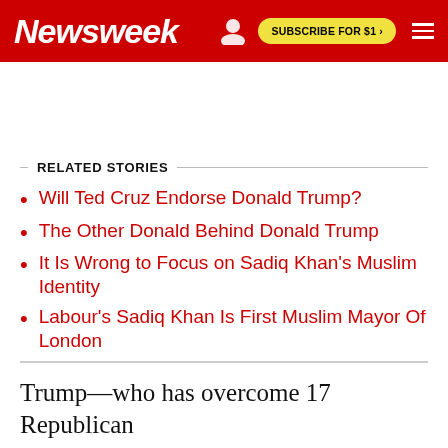Newsweek
RELATED STORIES
Will Ted Cruz Endorse Donald Trump?
The Other Donald Behind Donald Trump
It Is Wrong to Focus on Sadiq Khan's Muslim Identity
Labour's Sadiq Khan Is First Muslim Mayor Of London
Trump—who has overcome 17 Republican